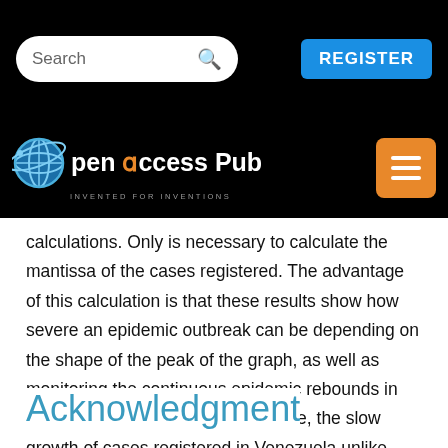Search | REGISTER
[Figure (logo): Open Access Pub logo with globe icon and tagline INVENTED FOR INVENTIONS, with orange hamburger menu button]
calculations. Only is necessary to calculate the mantissa of the cases registered. The advantage of this calculation is that these results show how severe an epidemic outbreak can be depending on the shape of the peak of the graph, as well as monitoring the continuous epidemic rebounds in each country, revealing, for example, the slow growth of cases registered in Venezuela unlike their neighboring countries Brazil and Colombia. Therefore, it is recommended to use the calculation of the mantissa to detect how severe an epidemic is, instead of using a linear or logarithmic scale.
Acknowledgment